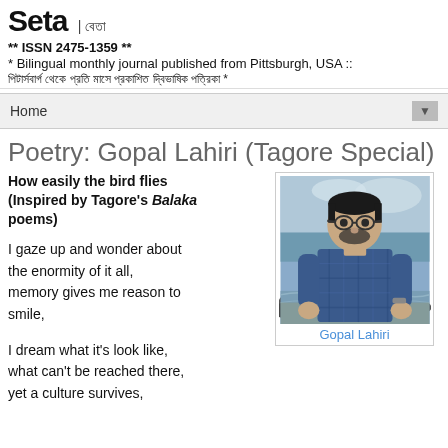Seta | বেতা ** ISSN 2475-1359 ** * Bilingual monthly journal published from Pittsburgh, USA :: পিটার্সবার্গ থেকে প্রতি মাসে প্রকাশিত দ্বিভাষিক পত্রিকা *
Home ▼
Poetry: Gopal Lahiri (Tagore Special)
How easily the bird flies (Inspired by Tagore's Balaka poems)
I gaze up and wonder about the enormity of it all, memory gives me reason to smile,

I dream what it's look like, what can't be reached there, yet a culture survives,
[Figure (photo): Portrait photo of Gopal Lahiri, a man wearing glasses and a blue plaid shirt, standing near the sea with water and rocks in the background.]
Gopal Lahiri